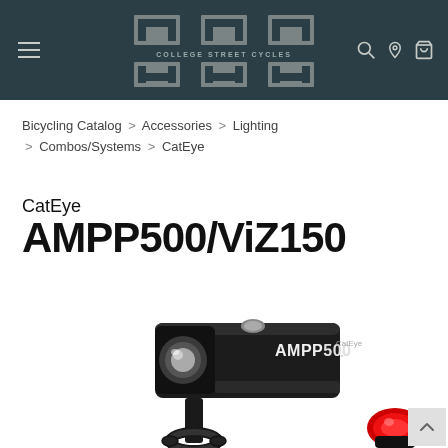College Street Cycles — navigation header
Bicycling Catalog > Accessories > Lighting > Combos/Systems > CatEye
CatEye AMPP500/ViZ150
[Figure (photo): CatEye AMPP500 front bicycle light mounted on handlebar bracket, with red ViZ150 rear light visible in the lower right corner]